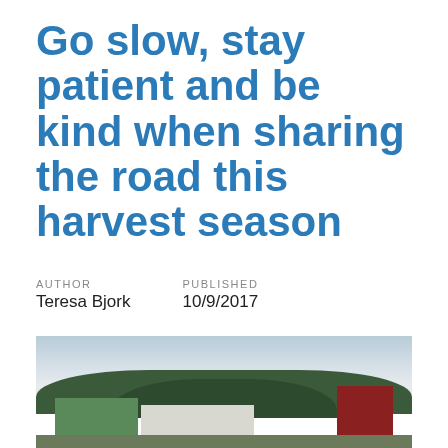Go slow, stay patient and be kind when sharing the road this harvest season
AUTHOR
Teresa Bjork

PUBLISHED
10/9/2017
[Figure (photo): Farm scene with green barn roof, white barn structures, red barn, and tree line against a cloudy sky]